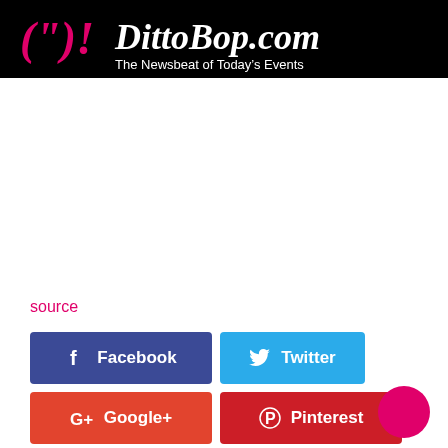[Figure (logo): DittoBop.com logo — pink parentheses-exclamation symbol on left, white italic script 'DittoBop.com' text, tagline 'The Newsbeat of Today's Events', all on black background]
source
[Figure (infographic): Social sharing buttons: Facebook (dark blue), Twitter (light blue), Google+ (red-orange), Pinterest (dark red), LinkedIn (blue)]